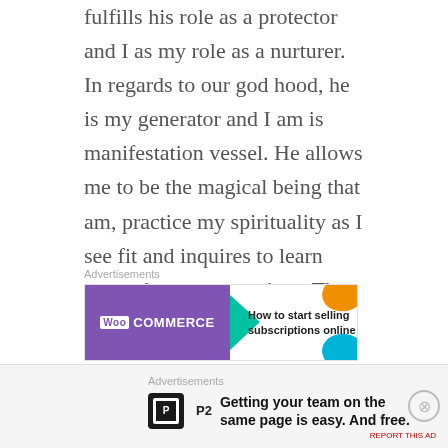fulfills his role as a protector and I as my role as a nurturer. In regards to our god hood, he is my generator and I am is manifestation vessel. He allows me to be the magical being that am, practice my spirituality as I see fit and inquires to learn more about my practices. The perfect guy for me!
Advertisements
[Figure (other): WooCommerce advertisement banner: purple left section with WooCommerce logo and green arrow, right section reads 'How to start selling subscriptions online' with orange and blue decorative blobs]
My love spell was open-ended and written to work within universal laws; which released full control to the universe to work on my behalf. I loved myself first and
Advertisements
[Figure (other): P2 advertisement banner: dark square P2 logo icon followed by bold text 'Getting your team on the same page is easy. And free.']